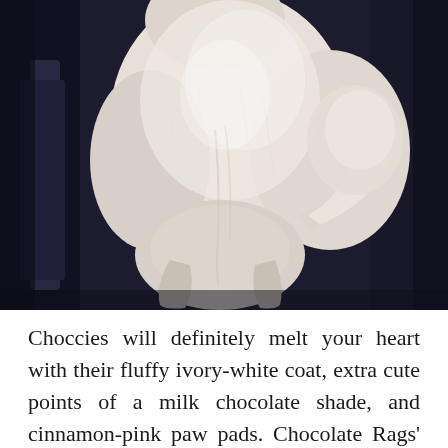[Figure (photo): A white/cream fluffy cat viewed from behind, sitting on a dark surface. The cat has a thick, long, light-colored coat. The background is very dark/black.]
Choccies will definitely melt your heart with their fluffy ivory-white coat, extra cute points of a milk chocolate shade, and cinnamon-pink paw pads. Chocolate Rags' coat ranges from light brown to dark chocolate brown. In